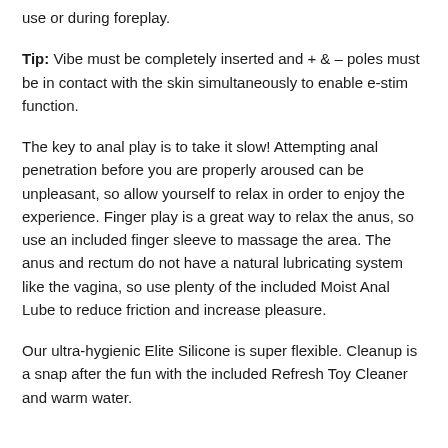use or during foreplay.
Tip: Vibe must be completely inserted and + & – poles must be in contact with the skin simultaneously to enable e-stim function.
The key to anal play is to take it slow! Attempting anal penetration before you are properly aroused can be unpleasant, so allow yourself to relax in order to enjoy the experience. Finger play is a great way to relax the anus, so use an included finger sleeve to massage the area. The anus and rectum do not have a natural lubricating system like the vagina, so use plenty of the included Moist Anal Lube to reduce friction and increase pleasure.
Our ultra-hygienic Elite Silicone is super flexible. Cleanup is a snap after the fun with the included Refresh Toy Cleaner and warm water.